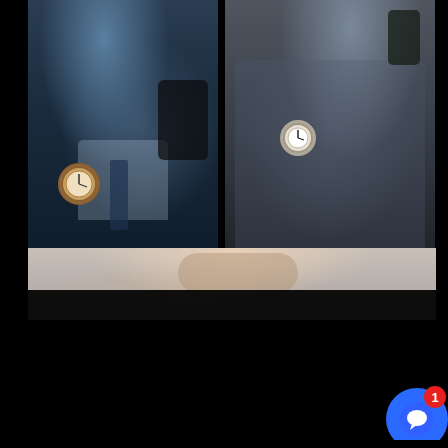[Figure (photo): Two photos side by side: left shows a man in a dark blue suit holding a phone and wearing a chronograph watch; right shows a man in a grey jacket also holding a phone and wearing a white-faced watch. Below is a partial third photo.]
This website uses cookies to ensure you get the best experience on our website.
Learn More
Got it!